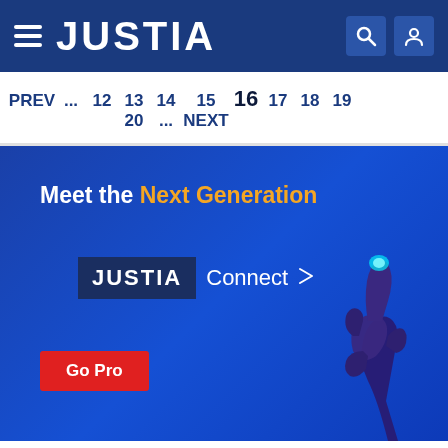JUSTIA
PREV ... 12 13 14 15 16 17 18 19 20 ... NEXT
[Figure (illustration): Justia Connect promotional banner with 'Meet the Next Generation' heading, JUSTIA Connect logo, Go Pro button, and a hand pointing upward illustration on blue gradient background]